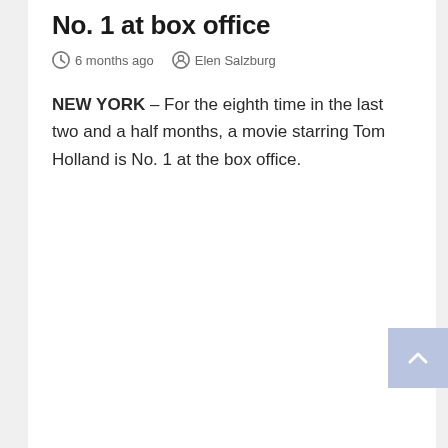No. 1 at box office
6 months ago   Elen Salzburg
NEW YORK – For the eighth time in the last two and a half months, a movie starring Tom Holland is No. 1 at the box office.